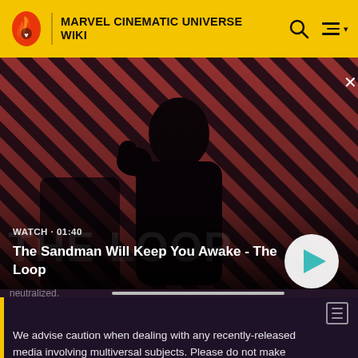MARVEL CINEMATIC UNIVERSE WIKI
[Figure (screenshot): Video thumbnail showing a dark-cloaked figure with a raven on shoulder against a red diagonal striped background. Title card shows 'THE LOOP'. Duration: WATCH • 01:40. Title: The Sandman Will Keep You Awake - The Loop. Play button visible.]
neutralized.
We advise caution when dealing with any recently-released media involving multiversal subjects. Please do not make assumptions regarding confusing wording, other sites' speculation, and people's headcanon around the internet.